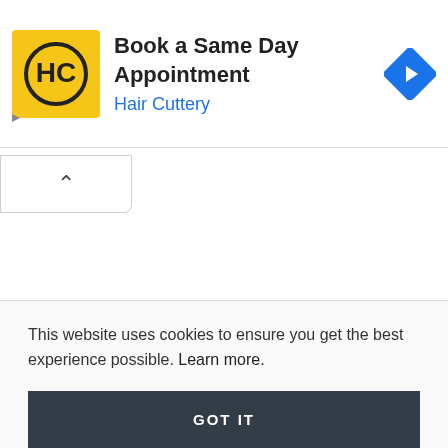[Figure (screenshot): Advertisement banner for Hair Cuttery with yellow logo, 'Book a Same Day Appointment' title, 'Hair Cuttery' subtitle in blue, and a blue navigation arrow icon on the right.]
This website uses cookies to ensure you get the best experience possible. Learn more.
GOT IT